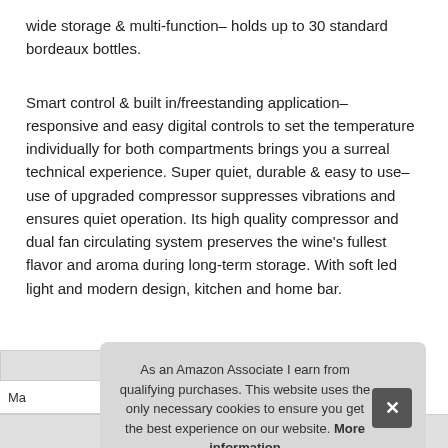wide storage & multi-function– holds up to 30 standard bordeaux bottles.
Smart control & built in/freestanding application– responsive and easy digital controls to set the temperature individually for both compartments brings you a surreal technical experience. Super quiet, durable & easy to use– use of upgraded compressor suppresses vibrations and ensures quiet operation. Its high quality compressor and dual fan circulating system preserves the wine's fullest flavor and aroma during long-term storage. With soft led light and modern design, kitchen and home bar.
As an Amazon Associate I earn from qualifying purchases. This website uses the only necessary cookies to ensure you get the best experience on our website. More information